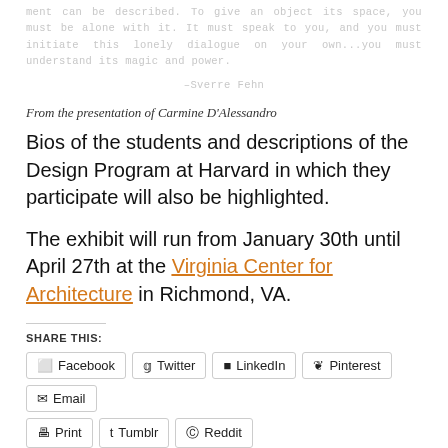ment can be described. To give an object its space, you must be alone with it. It must speak to you, and you must initiate this lonely dialogue on your own...you must understand its magic and power.
–Sverre Fehn
From the presentation of Carmine D'Alessandro
Bios of the students and descriptions of the Design Program at Harvard in which they participate will also be highlighted.
The exhibit will run from January 30th until April 27th at the Virginia Center for Architecture in Richmond, VA.
SHARE THIS:
Facebook  Twitter  LinkedIn  Pinterest  Email  Print  Tumblr  Reddit
Loading...